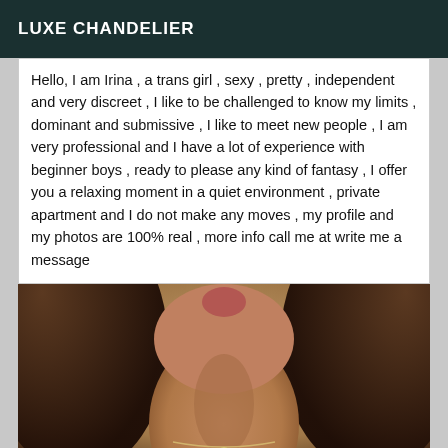LUXE CHANDELIER
Hello, I am Irina , a trans girl , sexy , pretty , independent and very discreet , I like to be challenged to know my limits , dominant and submissive , I like to meet new people , I am very professional and I have a lot of experience with beginner boys , ready to please any kind of fantasy , I offer you a relaxing moment in a quiet environment , private apartment and I do not make any moves , my profile and my photos are 100% real , more info call me at write me a message
[Figure (photo): Close-up photo of a person's neck and lower face with brown hair, wearing a necklace with a small pendant, on a warm-toned background]